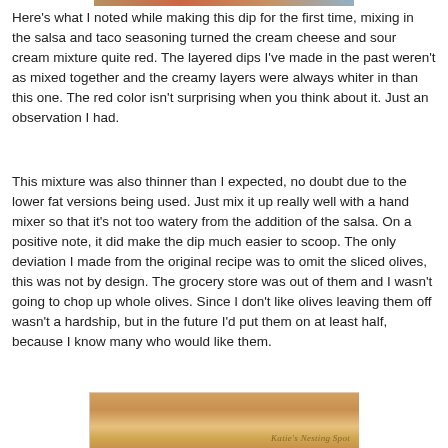[Figure (photo): Partial food photo at top of page, cropped, showing layered dip]
Here's what I noted while making this dip for the first time, mixing in the salsa and taco seasoning turned the cream cheese and sour cream mixture quite red.  The layered dips I've made in the past weren't as mixed together and the creamy layers were always whiter in than this one.  The red color isn't surprising when you think about it.  Just an observation I had.
This mixture was also thinner than I expected, no doubt due to the lower fat versions being used.  Just mix it up really well with a hand mixer so that it's not too watery from the addition of the salsa.   On a positive note, it did make the dip much easier to scoop.  The only deviation I made from the original recipe was to omit the sliced olives, this was not by design.  The grocery store was out of them and I wasn't going to chop up whole olives.  Since I don't like olives leaving them off wasn't a hardship, but in the future I'd put them on at least half, because I know many who would like them.
[Figure (photo): Food photo at bottom of page showing layered dip with watermark 'Katie's Nesting Spot']